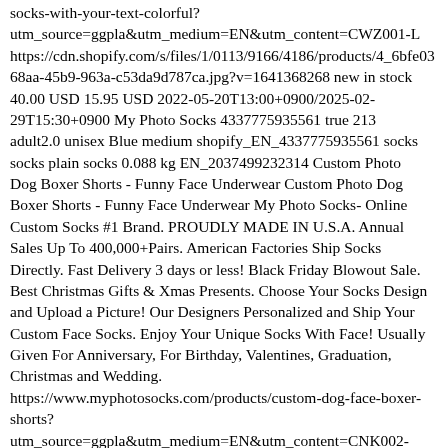socks-with-your-text-colorful? utm_source=ggpla&utm_medium=EN&utm_content=CWZ001-L https://cdn.shopify.com/s/files/1/0113/9166/4186/products/4_6bfe03 68aa-45b9-963a-c53da9d787ca.jpg?v=1641368268 new in stock 40.00 USD 15.95 USD 2022-05-20T13:00+0900/2025-02-29T15:30+0900 My Photo Socks 4337775935561 true 213 adult2.0 unisex Blue medium shopify_EN_4337775935561 socks socks plain socks 0.088 kg EN_2037499232314 Custom Photo Dog Boxer Shorts - Funny Face Underwear Custom Photo Dog Boxer Shorts - Funny Face Underwear My Photo Socks- Online Custom Socks #1 Brand. PROUDLY MADE IN U.S.A. Annual Sales Up To 400,000+Pairs. American Factories Ship Socks Directly. Fast Delivery 3 days or less! Black Friday Blowout Sale. Best Christmas Gifts & Xmas Presents. Choose Your Socks Design and Upload a Picture! Our Designers Personalized and Ship Your Custom Face Socks. Enjoy Your Unique Socks With Face! Usually Given For Anniversary, For Birthday, Valentines, Graduation, Christmas and Wedding. https://www.myphotosocks.com/products/custom-dog-face-boxer-shorts? utm_source=ggpla&utm_medium=EN&utm_content=CNK002-XS https://cdn.shopify.com/s/files/1/0113/9166/4186/products/16063092 v=1606309549 new in stock 60.00 USD 25.95 USD 2022-05-20T13:00+0900/2025-02-29T15:30+0900 My Photo Socks